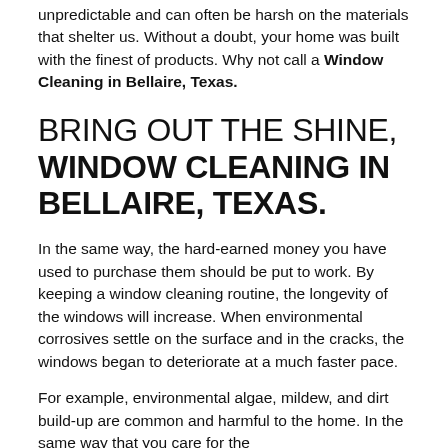unpredictable and can often be harsh on the materials that shelter us. Without a doubt, your home was built with the finest of products. Why not call a Window Cleaning in Bellaire, Texas.
BRING OUT THE SHINE, WINDOW CLEANING IN BELLAIRE, TEXAS.
In the same way, the hard-earned money you have used to purchase them should be put to work. By keeping a window cleaning routine, the longevity of the windows will increase. When environmental corrosives settle on the surface and in the cracks, the windows began to deteriorate at a much faster pace.
For example, environmental algae, mildew, and dirt build-up are common and harmful to the home. In the same way that you care for the